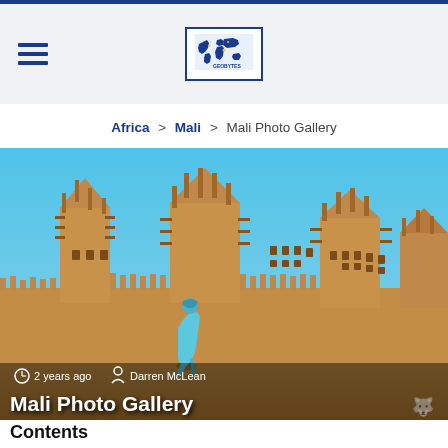Navigation header with hamburger menu and world map logo
Africa > Mali > Mali Photo Gallery
[Figure (photo): Photo of the Great Mosque of Djenné in Mali — a large mud-brick (adobe) mosque with tall spires and wooden protrusions, set against a clear blue sky, with a person in a blue robe walking in the foreground. Overlaid text shows '2 years ago' and 'Darren McLean'. Title 'Mali Photo Gallery' appears at the bottom of the image.]